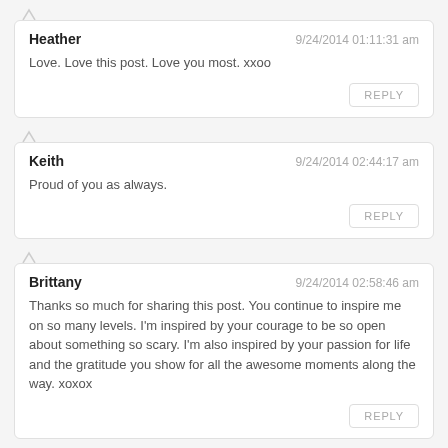Heather — 9/24/2014 01:11:31 am
Love. Love this post. Love you most. xxoo
REPLY
Keith — 9/24/2014 02:44:17 am
Proud of you as always.
REPLY
Brittany — 9/24/2014 02:58:46 am
Thanks so much for sharing this post. You continue to inspire me on so many levels. I'm inspired by your courage to be so open about something so scary. I'm also inspired by your passion for life and the gratitude you show for all the awesome moments along the way. xoxox
REPLY
Zoey — 9/24/2014 08:37:36 am